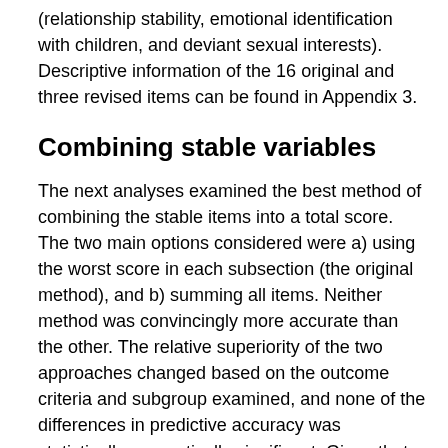(relationship stability, emotional identification with children, and deviant sexual interests). Descriptive information of the 16 original and three revised items can be found in Appendix 3.
Combining stable variables
The next analyses examined the best method of combining the stable items into a total score. The two main options considered were a) using the worst score in each subsection (the original method), and b) summing all items. Neither method was convincingly more accurate than the other. The relative superiority of the two approaches changed based on the outcome criteria and subgroup examined, and none of the differences in predictive accuracy was statistically or practically significant. Given that the simple addition of items is, well. . . the simplest, it was the option used for Stable-2007. The Stable-2007 tally sheet is presented in Appendix 4. In the total sample of adult male sexual offenders, the average